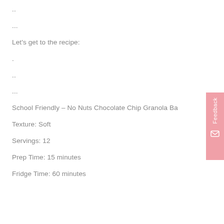..
...
Let's get to the recipe:
.
..
...
School Friendly – No Nuts Chocolate Chip Granola Ba...
Texture: Soft
Servings: 12
Prep Time: 15 minutes
Fridge Time: 60 minutes